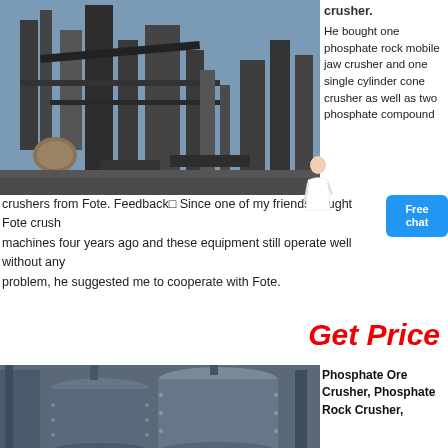[Figure (photo): Industrial phosphate rock crushing plant with large equipment, pipes, and machinery against a light sky background]
crusher. He bought one phosphate rock mobile jaw crusher and one single cylinder cone crusher as well as two phosphate compound crushers from Fote. Feedback▣ Since one of my friends bought Fote crushing machines four years ago and these equipment still operate well without any problem, he suggested me to cooperate with Fote.
Get Price
[Figure (photo): Two large cylindrical storage tanks or silos at an industrial facility]
Phosphate Ore Crusher, Phosphate Rock Crusher,
Get a Quote
WhatsApp